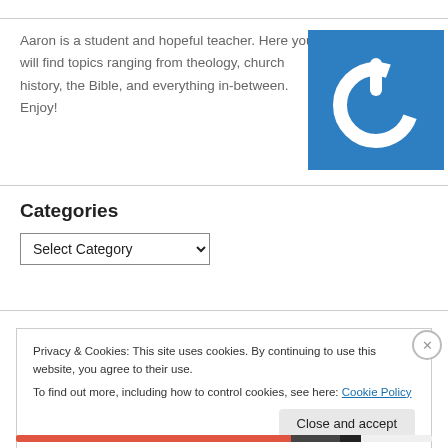Aaron is a student and hopeful teacher. Here you will find topics ranging from theology, church history, the Bible, and everything in-between. Enjoy!
[Figure (logo): Blue square with a white power button icon (circle with stem)]
Categories
Select Category (dropdown)
Privacy & Cookies: This site uses cookies. By continuing to use this website, you agree to their use. To find out more, including how to control cookies, see here: Cookie Policy
Close and accept